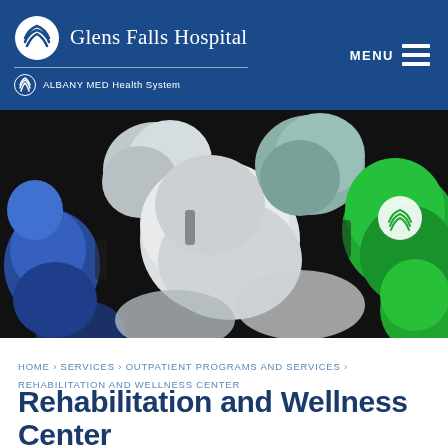Glens Falls Hospital | ALBANY MED Health System
[Figure (photo): Close-up photograph of colorful hexagonal dumbbells/weights in blue, grey, white, and green colors, with a green dumbbell on the right bearing the Glens Falls Hospital logo]
HOME › SERVICES › OUTPATIENT PROGRAMS AND SERVICES › REHABILITATION AND WELLNESS CENTER
Rehabilitation and Wellness Center